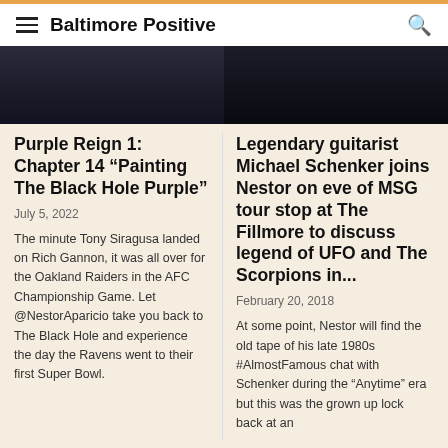Baltimore Positive
[Figure (photo): Dark photo cropped at top, left column]
[Figure (photo): Dark photo cropped at top, right column]
Purple Reign 1: Chapter 14 “Painting The Black Hole Purple”
July 5, 2022
The minute Tony Siragusa landed on Rich Gannon, it was all over for the Oakland Raiders in the AFC Championship Game. Let @NestorAparicio take you back to The Black Hole and experience the day the Ravens went to their first Super Bowl.
Legendary guitarist Michael Schenker joins Nestor on eve of MSG tour stop at The Fillmore to discuss legend of UFO and The Scorpions in...
February 20, 2018
At some point, Nestor will find the old tape of his late 1980s #AlmostFamous chat with Schenker during the "Anytime" era but this was the grown up lock back at an